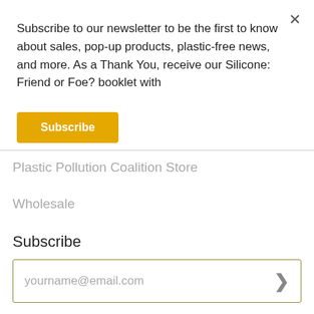Subscribe to our newsletter to be the first to know about sales, pop-up products, plastic-free news, and more. As a Thank You, receive our Silicone: Friend or Foe? booklet with
Subscribe
Plastic Pollution Coalition Store
Wholesale
Subscribe
yourname@email.com